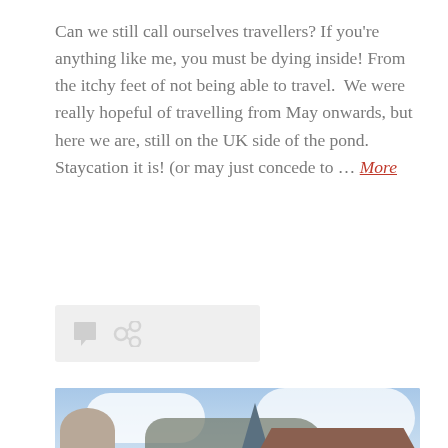Can we still call ourselves travellers? If you're anything like me, you must be dying inside! From the itchy feet of not being able to travel.  We were really hopeful of travelling from May onwards, but here we are, still on the UK side of the pond.  Staycation it is! (or may just concede to … More
[Figure (photo): Street-level photograph of European city buildings with a mountain cliff in the background and blue sky with clouds. Buildings include a domed structure on the left, a tall spired building in the center, and a red-roofed building on the right.]